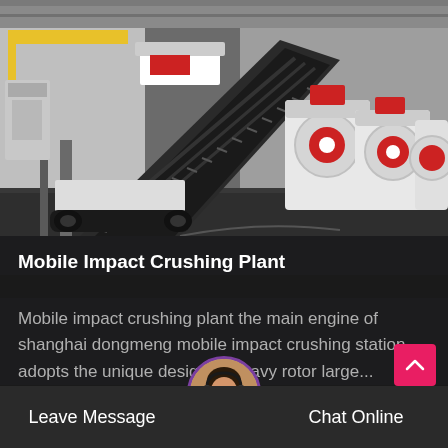[Figure (photo): Industrial factory floor showing a mobile impact crushing plant with a large conveyor belt mechanism on the left and white/red impact crushers on the right, inside a large warehouse.]
Mobile Impact Crushing Plant
Mobile impact crushing plant the main engine of shanghai dongmeng mobile impact crushing station adopts the unique design of heavy rotor large...